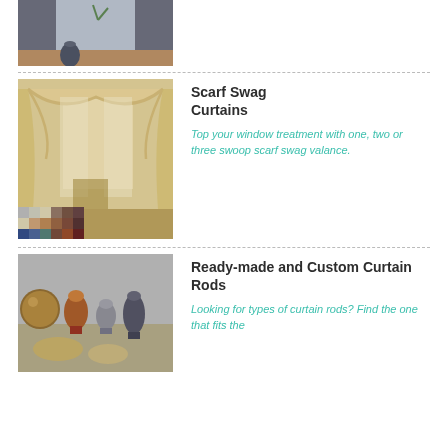[Figure (photo): Partial top image of dark curtains with a vase on a table near a window]
[Figure (photo): Scarf swag curtains in a room with color swatches at bottom]
Scarf Swag Curtains
Top your window treatment with one, two or three swoop scarf swag valance.
[Figure (photo): Decorative curtain rod finials in various styles and colors]
Ready-made and Custom Curtain Rods
Looking for types of curtain rods? Find the one that fits the